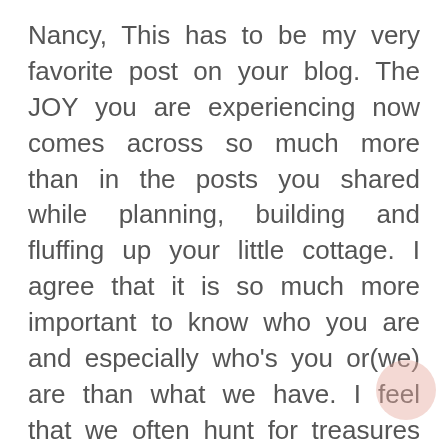Nancy, This has to be my very favorite post on your blog. The JOY you are experiencing now comes across so much more than in the posts you shared while planning, building and fluffing up your little cottage. I agree that it is so much more important to know who you are and especially who's you or(we) are than what we have. I feel that we often hunt for treasures to fix and fluff our homes, but don't the take time to know or understand the real treasure of salvation that is so much